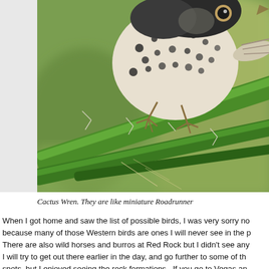[Figure (photo): Close-up photograph of a Cactus Wren perched on green plant stems or cactus spines. The bird has a speckled/spotted breast, dark cap, and is viewed from above at a slight angle. Background is blurred green and tan tones.]
Cactus Wren. They are like miniature Roadrunner
When I got home and saw the list of possible birds, I was very sorry no because many of those Western birds are ones I will never see in the p There are also wild horses and burros at Red Rock but I didn't see any I will try to get out there earlier in the day, and go further to some of th spots, but I enjoyed seeing the rock formations. If you go to Vegas an